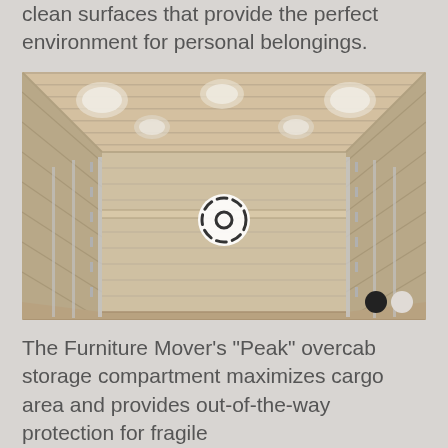clean surfaces that provide the perfect environment for personal belongings.
[Figure (photo): Interior view of a furniture moving truck cargo area showing wooden paneled walls, ceiling with recessed lights, metal rails/straps on sides, and a flat wooden floor. A circular camera/360-degree view icon is centered in the image. Two navigation dots appear in the bottom right corner.]
The Furniture Mover's "Peak" overcab storage compartment maximizes cargo area and provides out-of-the-way protection for fragile